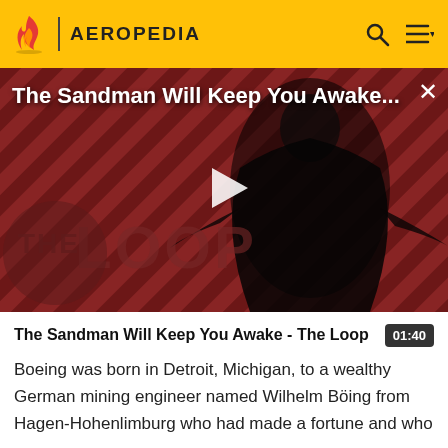AEROPEDIA
[Figure (screenshot): Video thumbnail for 'The Sandman Will Keep You Awake - The Loop' showing a dark figure in black robes with a crow against a red diagonal striped background with 'THE LOOP' logo overlay and a play button in the center. Video title appears at top left: 'The Sandman Will Keep You Awake...' with an X close button at top right.]
The Sandman Will Keep You Awake - The Loop
Boeing was born in Detroit, Michigan, to a wealthy German mining engineer named Wilhelm Böing from Hagen-Hohenlimburg who had made a fortune and who